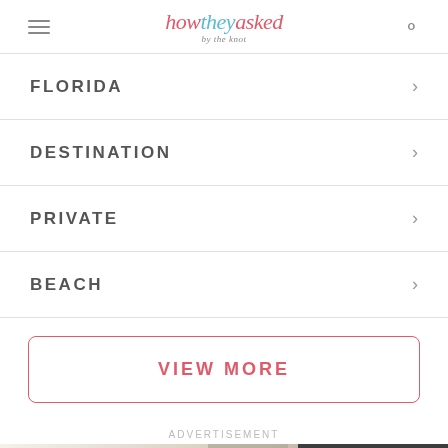how they asked by the knot
FLORIDA
DESTINATION
PRIVATE
BEACH
VIEW MORE
ADVERTISEMENT
[Figure (photo): Advertisement banner for Nemacolin resort with romantic couple image and text 'A Dream Come True']